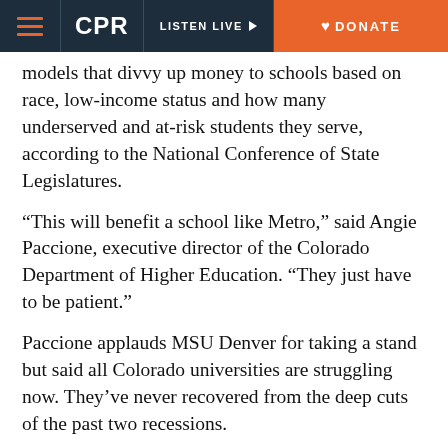CPR | LISTEN LIVE | DONATE
models that divvy up money to schools based on race, low-income status and how many underserved and at-risk students they serve, according to the National Conference of State Legislatures.
“This will benefit a school like Metro,” said Angie Paccione, executive director of the Colorado Department of Higher Education. “They just have to be patient.”
Paccione applauds MSU Denver for taking a stand but said all Colorado universities are struggling now. They’ve never recovered from the deep cuts of the past two recessions.